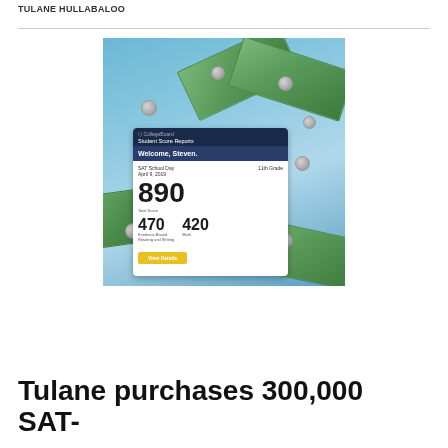TULANE HULLABALOO
[Figure (photo): A photo showing a College Board Student Score Reports card displaying SAT School Day scores (total: 890, Evidence-Based Reading and Writing: 470, Math: 420, dated April 9, 2019, 11th Grade, for 'Welcome, Steven') surrounded by US dollar bills and coins on a blue sky background.]
Tulane purchases 300,000 SAT-